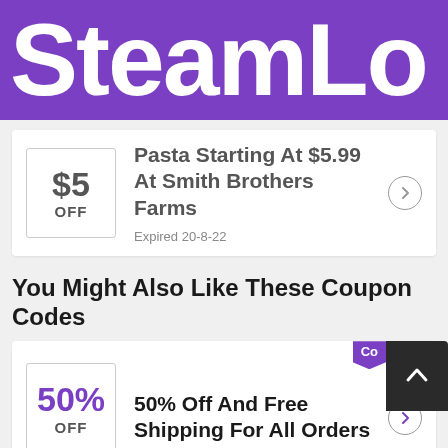SteamLo
$5 OFF — Pasta Starting At $5.99 At Smith Brothers Farms — Expired 20-8-22
You Might Also Like These Coupon Codes
50% Off And Free Shipping For All Orders